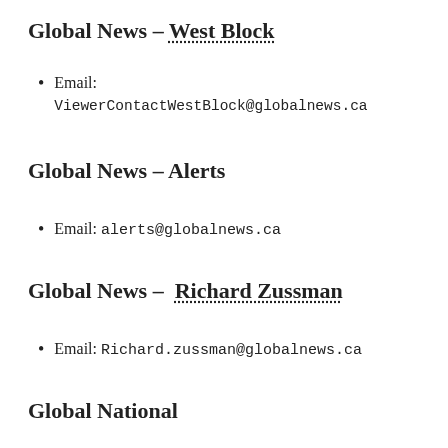Global News – West Block
Email: ViewerContactWestBlock@globalnews.ca
Global News – Alerts
Email: alerts@globalnews.ca
Global News –  Richard Zussman
Email: Richard.zussman@globalnews.ca
Global National